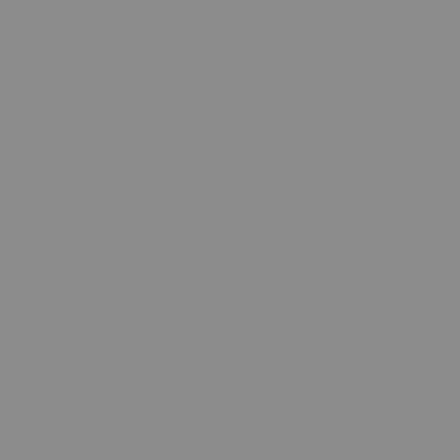Various/KITSUNE AMERICA 5 DLP
Various/VIRU…
$30.00
$22.5…
Various/LARGE MUSIC: WAX WEAPONS 3 12"
Vario…
$15.00
$18.0…